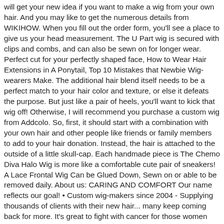will get your new idea if you want to make a wig from your own hair. And you may like to get the numerous details from WIKIHOW. When you fill out the order form, you'll see a place to give us your head measurement. The U Part wig is secured with clips and combs, and can also be sewn on for longer wear. Perfect cut for your perfectly shaped face, How to Wear Hair Extensions in A Ponytail, Top 10 Mistakes that Newbie Wig-wearers Make. The additional hair blend itself needs to be a perfect match to your hair color and texture, or else it defeats the purpose. But just like a pair of heels, you'll want to kick that wig off! Otherwise, I will recommend you purchase a custom wig from Addcolo. So, first, it should start with a combination with your own hair and other people like friends or family members to add to your hair donation. Instead, the hair is attached to the outside of a little skull-cap. Each handmade piece is The Chemo Diva Halo Wig is more like a comfortable cute pair of sneakers! A Lace Frontal Wig Can be Glued Down, Sewn on or able to be removed daily. About us: CARING AND COMFORT Our name reflects our goal! • Custom wig-makers since 2004 - Supplying thousands of clients with their new hair... many keep coming back for more. It's great to fight with cancer for those women and that's why I write this post. A hair donation of 10″ will become 7″ long in a finished wig. The wig can also sit further back, and you can have up to about an inch of your entire front hairline as the leave out along with the portion of leave out in the U part area. It's an awesome